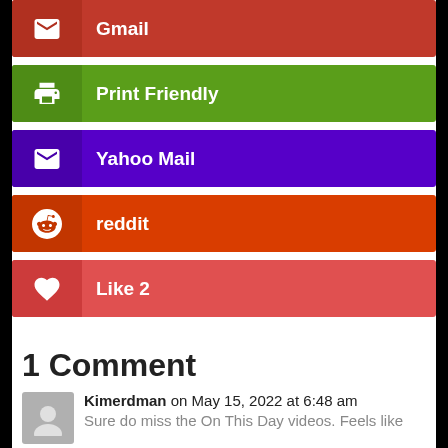Gmail
Print Friendly
Yahoo Mail
reddit
Like  2
1 Comment
Kimerdman on May 15, 2022 at 6:48 am
Sure do miss the On This Day videos. Feels like